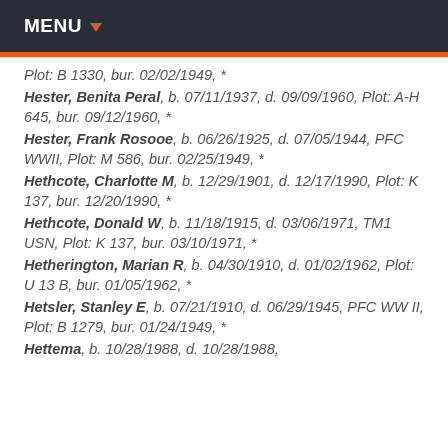MENU
Plot: B 1330, bur. 02/02/1949, *
Hester, Benita Peral, b. 07/11/1937, d. 09/09/1960, Plot: A-H 645, bur. 09/12/1960, *
Hester, Frank Rosooe, b. 06/26/1925, d. 07/05/1944, PFC WWII, Plot: M 586, bur. 02/25/1949, *
Hethcote, Charlotte M, b. 12/29/1901, d. 12/17/1990, Plot: K 137, bur. 12/20/1990, *
Hethcote, Donald W, b. 11/18/1915, d. 03/06/1971, TM1 USN, Plot: K 137, bur. 03/10/1971, *
Hetherington, Marian R, b. 04/30/1910, d. 01/02/1962, Plot: U 13 B, bur. 01/05/1962, *
Hetsler, Stanley E, b. 07/21/1910, d. 06/29/1945, PFC WW II, Plot: B 1279, bur. 01/24/1949, *
Hettema, b. 10/28/1988, d. 10/28/1988,